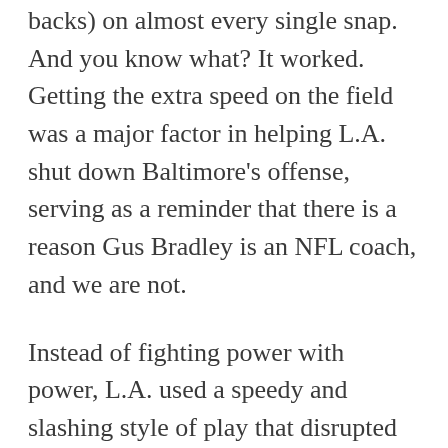backs) on almost every single snap. And you know what? It worked. Getting the extra speed on the field was a major factor in helping L.A. shut down Baltimore's offense, serving as a reminder that there is a reason Gus Bradley is an NFL coach, and we are not.
Instead of fighting power with power, L.A. used a speedy and slashing style of play that disrupted the Raven's running game. You can see what we mean on the play below.
This was a 3rd-and-2, and the Ravens were running a power to the right side. The